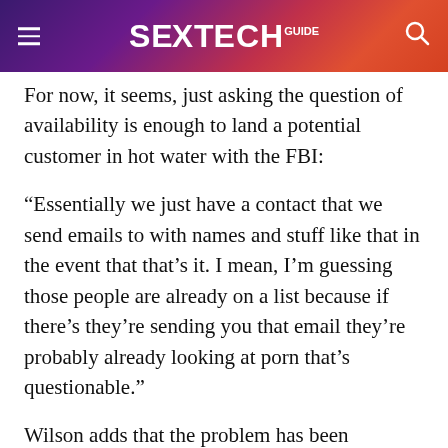SEXTECH GUIDE
For now, it seems, just asking the question of availability is enough to land a potential customer in hot water with the FBI:
“Essentially we just have a contact that we send emails to with names and stuff like that in the event that that’s it. I mean, I’m guessing those people are already on a list because if there’s they’re sending you that email they’re probably already looking at porn that’s questionable.”
Wilson adds that the problem has been compounded by the use of live chat facilities